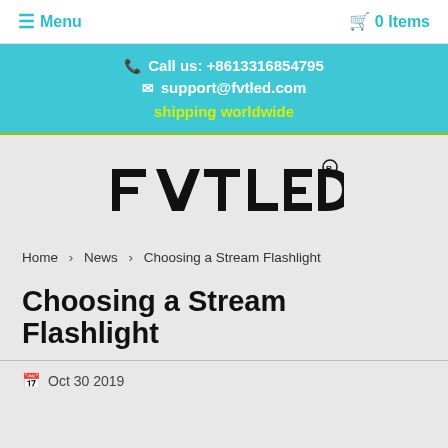☰ Menu   🛒 0 Items
Call us: +8613316854795
support@fvtled.com
shipping worldwide
[Figure (logo): FVTLED brand logo with registered trademark symbol]
Home › News › Choosing a Stream Flashlight
Choosing a Stream Flashlight
Oct 30 2019